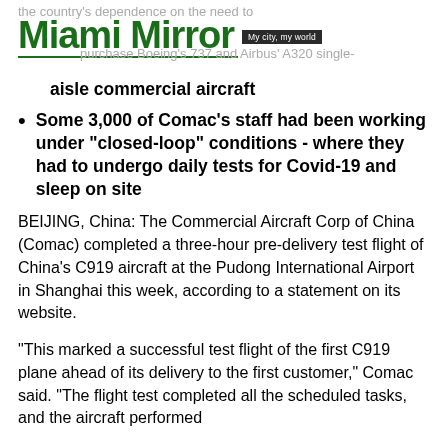the country's dependence on the need to
Miami Mirror
My city, my world
purchase Boeing's 737 and Airbus' A320 single-aisle commercial aircraft
Some 3,000 of Comac's staff had been working under "closed-loop" conditions - where they had to undergo daily tests for Covid-19 and sleep on site
BEIJING, China: The Commercial Aircraft Corp of China (Comac) completed a three-hour pre-delivery test flight of China's C919 aircraft at the Pudong International Airport in Shanghai this week, according to a statement on its website.
"This marked a successful test flight of the first C919 plane ahead of its delivery to the first customer," Comac said. "The flight test completed all the scheduled tasks, and the aircraft performed